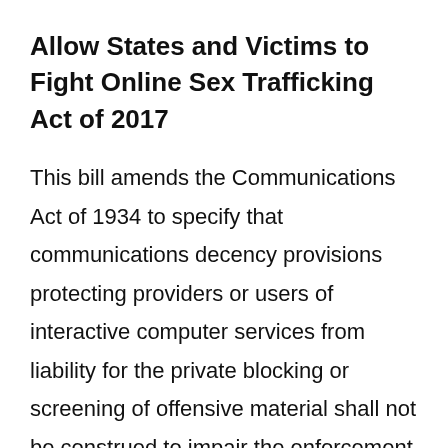Allow States and Victims to Fight Online Sex Trafficking Act of 2017
This bill amends the Communications Act of 1934 to specify that communications decency provisions protecting providers or users of interactive computer services from liability for the private blocking or screening of offensive material shall not be construed to impair the enforcement of, or limit availability of victim restitution or civil remedies under, state or federal criminal or civil laws relating to sexual exploitation of children or sex trafficking.
The bill amends the federal criminal code to specify